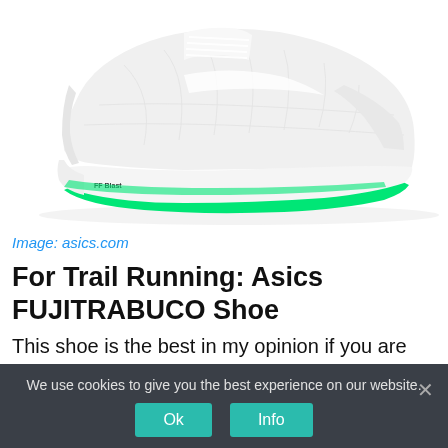[Figure (photo): White and mint-green Asics running shoe on white background, side profile view, with 'FF Blast' text on the midsole]
Image: asics.com
For Trail Running: Asics FUJITRABUCO Shoe
This shoe is the best in my opinion if you are looking for flexibility and a lightweight
We use cookies to give you the best experience on our website.